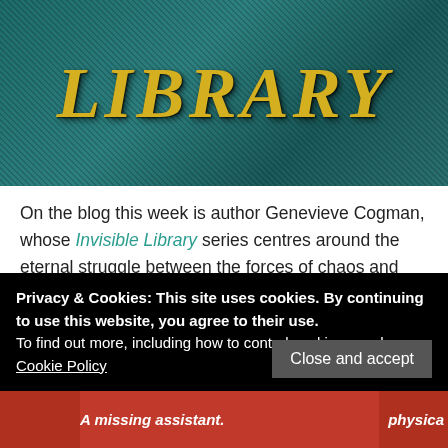[Figure (photo): Book cover showing 'LIBRARY' text in large gold/yellow serif italic font on a teal/dark green textured background]
On the blog this week is author Genevieve Cogman, whose Invisible Library series centres around the eternal struggle between the forces of chaos and order, represented respectively by the Fae and the Dragons. The fifth and latest instalment, The Mortal Word, continues librarian protagonist Irene's story.  We caught up with Genevieve to talk about keeping a
Privacy & Cookies: This site uses cookies. By continuing to use this website, you agree to their use.
To find out more, including how to control cookies, see here: Cookie Policy
Close and accept
[Figure (photo): Bottom strip showing partial book cover images with text 'A missing assistant.' on red background and partial word 'physica' on right]